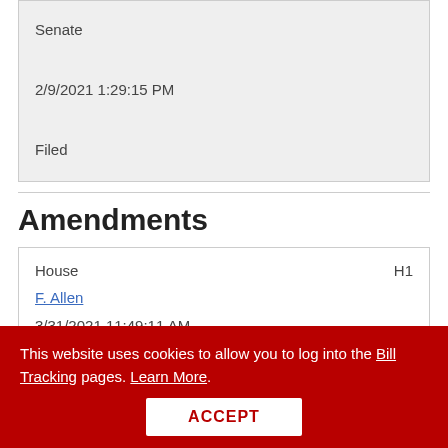| Senate |
| 2/9/2021 1:29:15 PM |
| Filed |
Amendments
| House | H1 |
| F. Allen |  |
| 3/31/2021 11:49:11 AM |  |
This website uses cookies to allow you to log into the Bill Tracking pages. Learn More.
ACCEPT